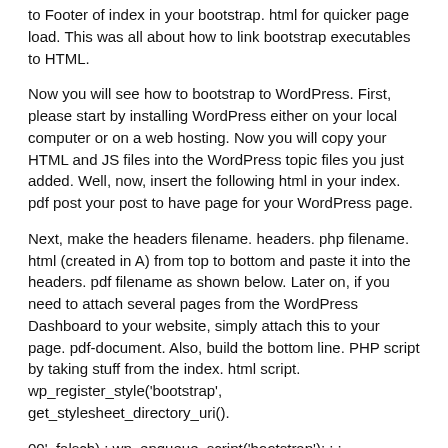to Footer of index in your bootstrap. html for quicker page load. This was all about how to link bootstrap executables to HTML.
Now you will see how to bootstrap to WordPress. First, please start by installing WordPress either on your local computer or on a web hosting. Now you will copy your HTML and JS files into the WordPress topic files you just added. Well, now, insert the following html in your index. pdf post your post to have page for your WordPress page.
Next, make the headers filename. headers. php filename. html (created in A) from top to bottom and paste it into the headers. pdf filename as shown below. Later on, if you need to attach several pages from the WordPress Dashboard to your website, simply attach this to your page. pdf-document. Also, build the bottom line. PHP script by taking stuff from the index. html script. wp_register_style('bootstrap', get_stylesheet_directory_uri().
00', falsch) ; wp_enqueue_script('bootstrap'); ; ; add_action('wp_enqueue_scripts','my_scripts_method');'primary' => __('Menu', 'wpbootstraptheme'), ), ),) ; add_action('after_setup_theme','theme_setup') ; max-width :